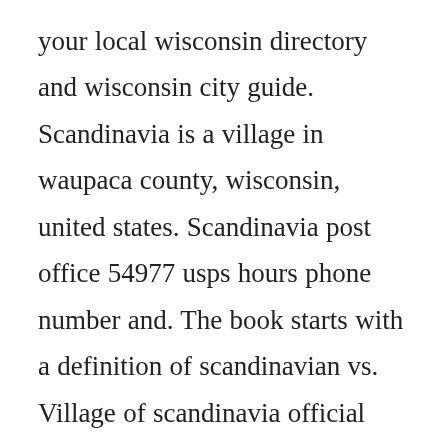your local wisconsin directory and wisconsin city guide. Scandinavia is a village in waupaca county, wisconsin, united states. Scandinavia post office 54977 usps hours phone number and. The book starts with a definition of scandinavian vs. Village of scandinavia official website of the town web. To use the wifi on your smartphone, tablet, or laptop go to your settings often a gear icon, then wifi, and then select libraryguest. Access to certain public records of the wisconsin circuit courts. Search wisconsins white pages to help you locate addresses, phone numbers, and more.